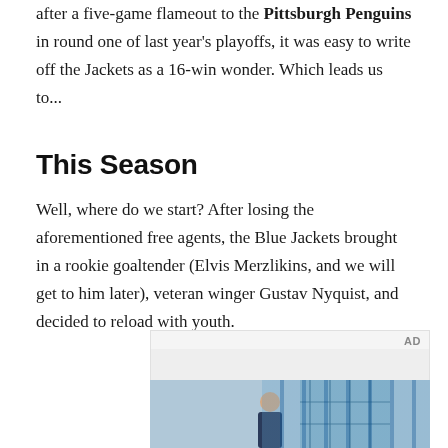after a five-game flameout to the Pittsburgh Penguins in round one of last year's playoffs, it was easy to write off the Jackets as a 16-win wonder. Which leads us to...
This Season
Well, where do we start? After losing the aforementioned free agents, the Blue Jackets brought in a rookie goaltender (Elvis Merzlikins, and we will get to him later), veteran winger Gustav Nyquist, and decided to reload with youth.
[Figure (photo): Advertisement block with AD label and a photo showing a young person standing in front of a building with blue windows]